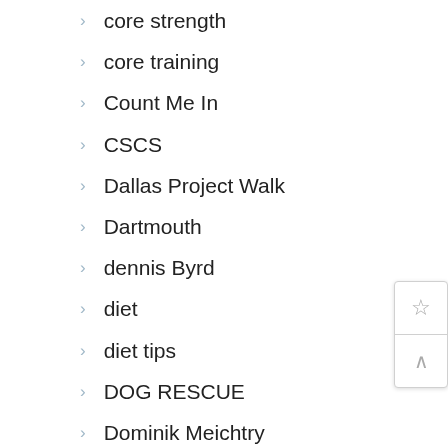core strength
core training
Count Me In
CSCS
Dallas Project Walk
Dartmouth
dennis Byrd
diet
diet tips
DOG RESCUE
Dominik Meichtry
Dominique Karan
Dr.